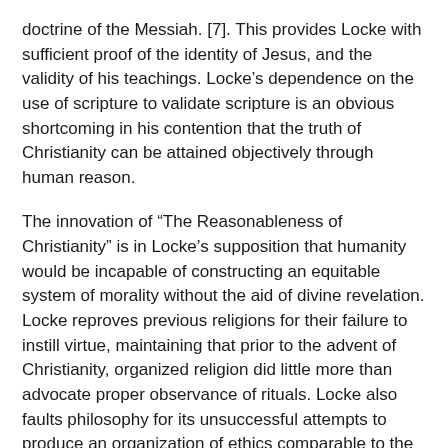doctrine of the Messiah. [7]. This provides Locke with sufficient proof of the identity of Jesus, and the validity of his teachings. Locke's dependence on the use of scripture to validate scripture is an obvious shortcoming in his contention that the truth of Christianity can be attained objectively through human reason.
The innovation of “The Reasonableness of Christianity” is in Locke’s supposition that humanity would be incapable of constructing an equitable system of morality without the aid of divine revelation. Locke reproves previous religions for their failure to instill virtue, maintaining that prior to the advent of Christianity, organized religion did little more than advocate proper observance of rituals. Locke also faults philosophy for its unsuccessful attempts to produce an organization of ethics comparable to the teachings of Jesus Christ. Locke finds Christian morality to be the most substantive and comprehensive system ever proposed to humanity.